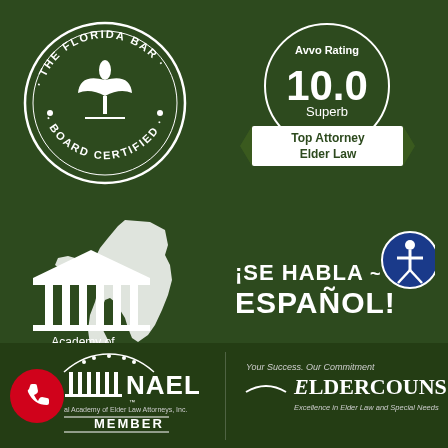[Figure (logo): The Florida Bar Board Certified circular badge/seal with white text and flame/plant emblem on dark green background]
[Figure (logo): Avvo Rating 10.0 Superb - Top Attorney Elder Law badge with circular design and ribbon banner]
[Figure (logo): Academy of Florida Elder Law Attorneys logo with columns/temple and Florida state outline silhouette]
[Figure (logo): Se Habla Espanol text logo with accessibility icon circle]
[Figure (logo): NAELA National Academy of Elder Law Attorneys Inc. Member logo with phone icon]
[Figure (logo): ElderCounsel - Your Success. Our Commitment. Excellence in Elder Law and Special Needs logo]